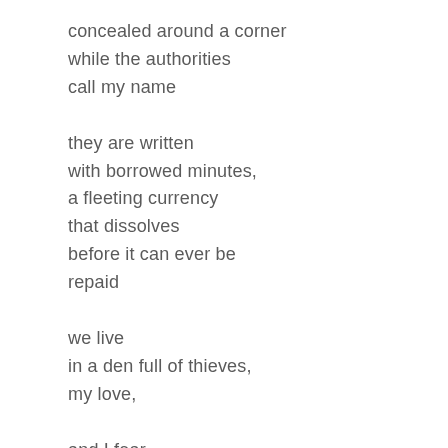concealed around a corner
while the authorities
call my name
they are written
with borrowed minutes,
a fleeting currency
that dissolves
before it can ever be
repaid
we live
in a den full of thieves,
my love,
and I fear
taking more